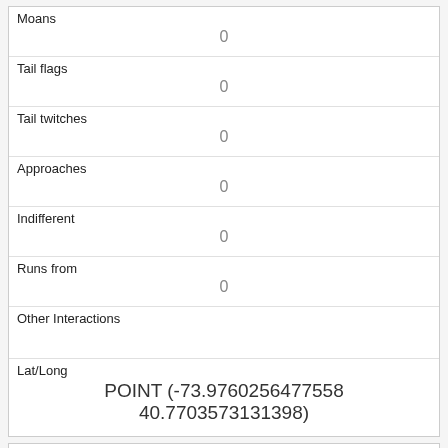| Moans | 0 |
| Tail flags | 0 |
| Tail twitches | 0 |
| Approaches | 0 |
| Indifferent | 0 |
| Runs from | 0 |
| Other Interactions |  |
| Lat/Long | POINT (-73.9760256477558 40.7703573131398) |
| Link | 243 |
| rowid | 243 |